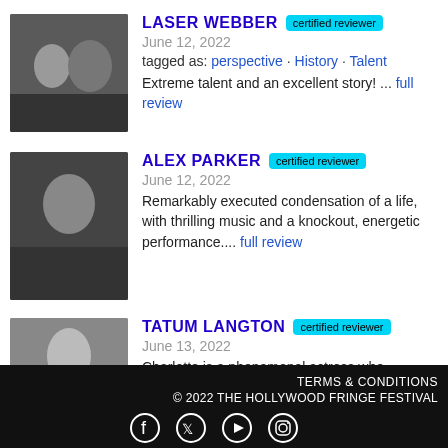LASER WEBBER — certified reviewer — June 12, 2022 — tagged as: perspective · History · Talent — Extreme talent and an excellent story! ... full review
ALEX PARKER — certified reviewer — June 12, 2022 — Remarkably executed condensation of a life, with thrilling music and a knockout, energetic performance.... full review
TATUM LANGTON — certified reviewer — June 13, 2022 — Charlotte is a phenomenal actress who commands the
TERMS & CONDITIONS © 2022 THE HOLLYWOOD FRINGE FESTIVAL